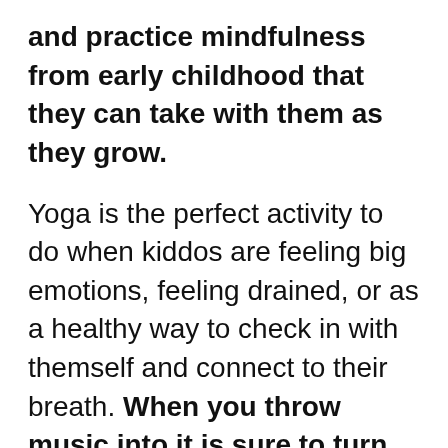and practice mindfulness from early childhood that they can take with them as they grow.
Yoga is the perfect activity to do when kiddos are feeling big emotions, feeling drained, or as a healthy way to check in with themself and connect to their breath. When you throw music into it is sure to turn up the fun and give children more freedom to express themself in a safe artistic environment. There is no right or wrong in a kid's yoga music party! Let